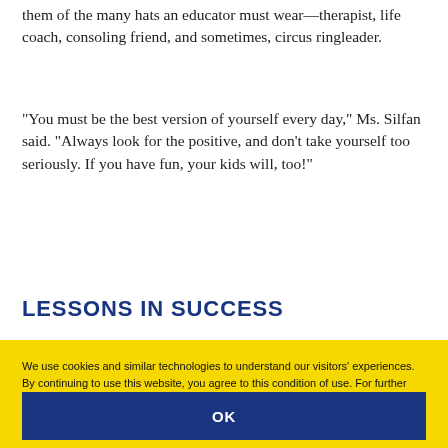them of the many hats an educator must wear—therapist, life coach, consoling friend, and sometimes, circus ringleader.
“You must be the best version of yourself every day,” Ms. Silfan said. “Always look for the positive, and don’t take yourself too seriously. If you have fun, your kids will, too!”
LESSONS IN SUCCESS
We use cookies and similar technologies to understand our visitors’ experiences. By continuing to use this website, you agree to this condition of use. For further information please see our privacy policy
OK